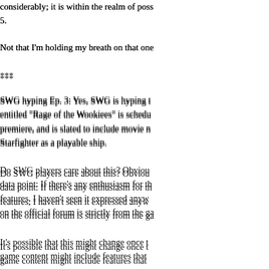considerably; it is within the realm of poss 5.
Not that I'm holding my breath on that one
***
SWG hyping Ep. 3: Yes, SWG is hyping th entitled "Rage of the Wookiees" is schedu premiere, and is slated to include movie n Starfighter as a playable ship.
Do SWG players care about this? Obviou data point: If there's any enthusiasm for th features, I haven't seen it expressed anyw on the official forum is strictly from the ga
It's possible that this might change once t game content might include features that
Maybe.
--Flatfingers
Posted by: Flatfingers | Apr 14, 2005 at 12:47
31.  Thanks for all that.
There's an obvious lud/nar angle on the S care about the film, it makes me wonder a the SWG MMORPG would be such a grea